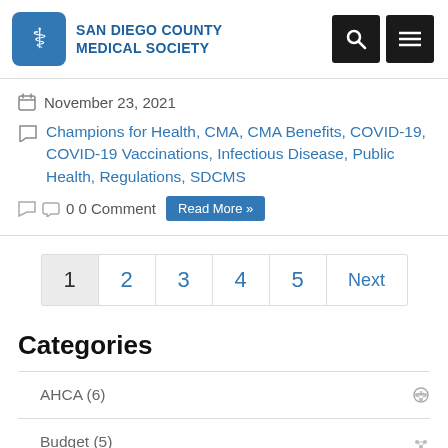San Diego County Medical Society
November 23, 2021
Champions for Health, CMA, CMA Benefits, COVID-19, COVID-19 Vaccinations, Infectious Disease, Public Health, Regulations, SDCMS
0 0 Comment  Read More »
1  2  3  4  5  Next
Categories
AHCA (6)
Budget (5)
Cal MediConnect (2)